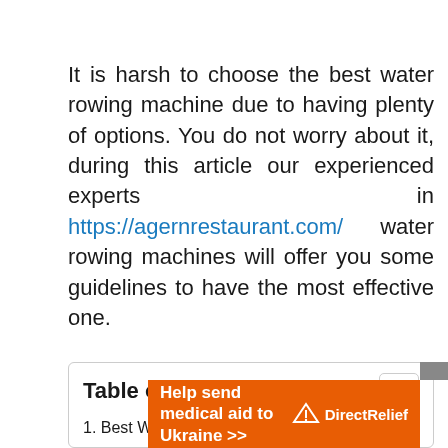It is harsh to choose the best water rowing machine due to having plenty of options. You do not worry about it, during this article our experienced experts in https://agernrestaurant.com/ water rowing machines will offer you some guidelines to have the most effective one.
Table of Contents
1. Best Water Rowing Machine Comparison...
[Figure (other): Orange advertisement banner: 'Help send medical aid to Ukraine >>' with Direct Relief logo]